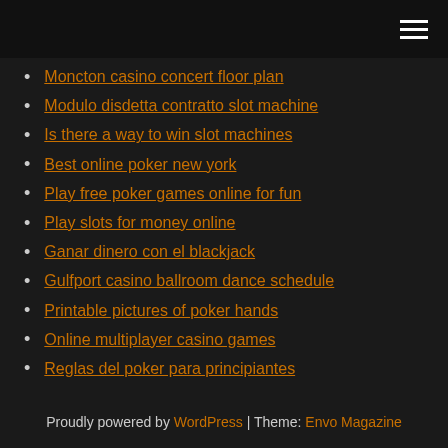Moncton casino concert floor plan
Modulo disdetta contratto slot machine
Is there a way to win slot machines
Best online poker new york
Play free poker games online for fun
Play slots for money online
Ganar dinero con el blackjack
Gulfport casino ballroom dance schedule
Printable pictures of poker hands
Online multiplayer casino games
Reglas del poker para principiantes
Proudly powered by WordPress | Theme: Envo Magazine